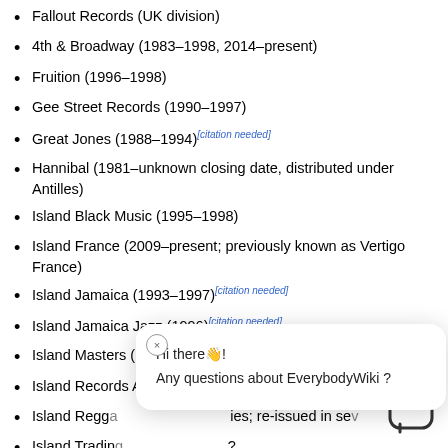Fallout Records (UK division)
4th & Broadway (1983–1998, 2014–present)
Fruition (1996–1998)
Gee Street Records (1990–1997)
Great Jones (1988–1994)[citation needed]
Hannibal (1981–unknown closing date, distributed under Antilles)
Island Black Music (1995–1998)
Island France (2009–present; previously known as Vertigo France)
Island Jamaica (1993–1997)[citation needed]
Island Jamaica Jazz (1996)[citation needed]
Island Masters (1980s–1990s; reissues)
Island Records Australia (2007–present)
Island Reggae [series; re-issued in several...
Island Trading ... PolyGram; 1988–1989)...